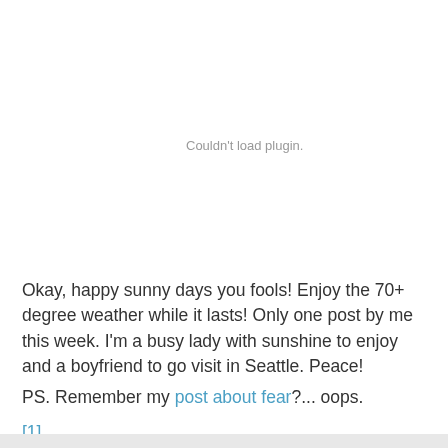[Figure (other): Couldn't load plugin. — embedded plugin placeholder area]
Okay, happy sunny days you fools! Enjoy the 70+ degree weather while it lasts! Only one post by me this week. I'm a busy lady with sunshine to enjoy and a boyfriend to go visit in Seattle. Peace!
PS. Remember my post about fear?... oops.
[1]